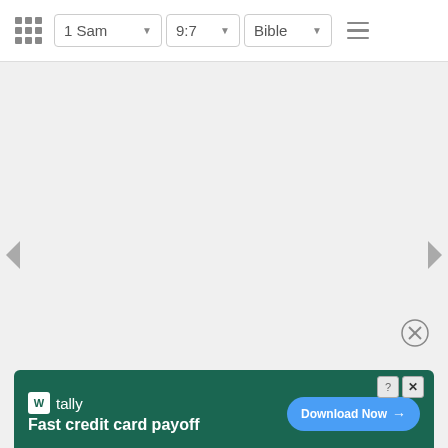1 Sam  9:7  Bible
© 2004 - 2022 by Bible Hub
[Figure (screenshot): Bible Hub website screenshot with navigation bar showing 1 Sam 9:7 Bible, copyright notice, left and right navigation arrows, a close circle button, and a Tally advertisement banner at the bottom saying 'Fast credit card payoff' with a Download Now button.]
Fast credit card payoff — Download Now